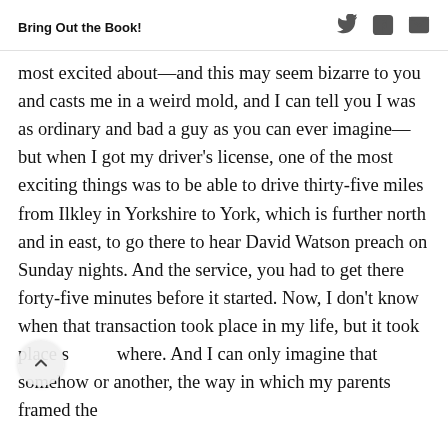Bring Out the Book!
most excited about—and this may seem bizarre to you and casts me in a weird mold, and I can tell you I was as ordinary and bad a guy as you can ever imagine—but when I got my driver's license, one of the most exciting things was to be able to drive thirty-five miles from Ilkley in Yorkshire to York, which is further north and in east, to go there to hear David Watson preach on Sunday nights. And the service, you had to get there forty-five minutes before it started. Now, I don't know when that transaction took place in my life, but it took place somewhere. And I can only imagine that somehow or another, the way in which my parents framed the